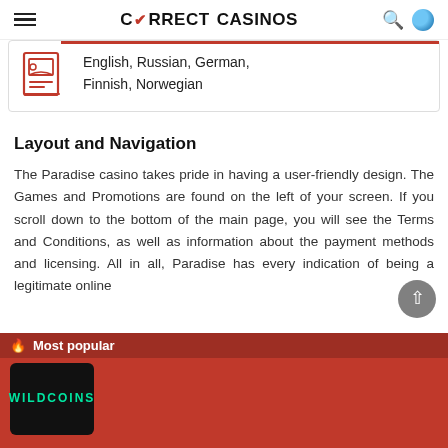CORRECT CASINOS
English, Russian, German, Finnish, Norwegian
Layout and Navigation
The Paradise casino takes pride in having a user-friendly design. The Games and Promotions are found on the left of your screen. If you scroll down to the bottom of the main page, you will see the Terms and Conditions, as well as information about the payment methods and licensing. All in all, Paradise has every indication of being a legitimate online
Most popular
[Figure (logo): Wild Coins casino logo — black card with teal text 'WILD COINS']